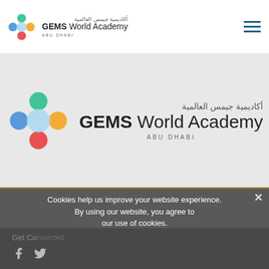GEMS World Academy ABU DHABI
[Figure (logo): GEMS World Academy Abu Dhabi large logo on gray background with colorful circular icon]
Cookies help us improve your website experience. By using our website, you agree to our use of cookies.
Confirm
Get Connected - Facebook and Twitter social icons